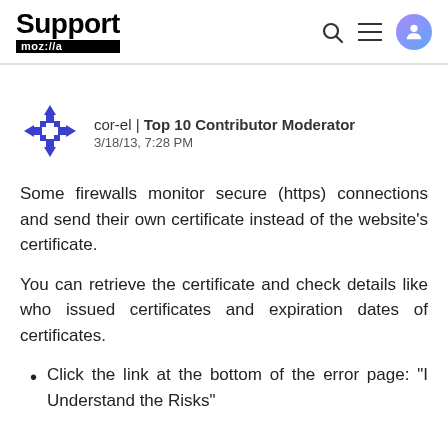Support moz://a
[Figure (illustration): cor-el contributor avatar — blue cross/move icon]
cor-el | Top 10 Contributor Moderator
3/18/13, 7:28 PM
Some firewalls monitor secure (https) connections and send their own certificate instead of the website's certificate.
You can retrieve the certificate and check details like who issued certificates and expiration dates of certificates.
Click the link at the bottom of the error page: "I Understand the Risks"